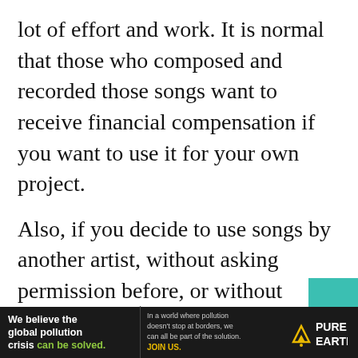lot of effort and work. It is normal that those who composed and recorded those songs want to receive financial compensation if you want to use it for your own project.
Also, if you decide to use songs by another artist, without asking permission before, or without paying copyright, it is possible that the platforms where you upload your video or your audio have copyright detectors. If they have not verified that you gave the compensation for their use, they can pen[alize]
[Figure (other): Advertisement banner for Pure Earth organization. Dark background with text: 'We believe the global pollution crisis can be solved.' in white and green. Middle column: 'In a world where pollution doesn't stop at borders, we can all be part of the solution. JOIN US.' Right side: Pure Earth logo with triangle/mountain icon.]